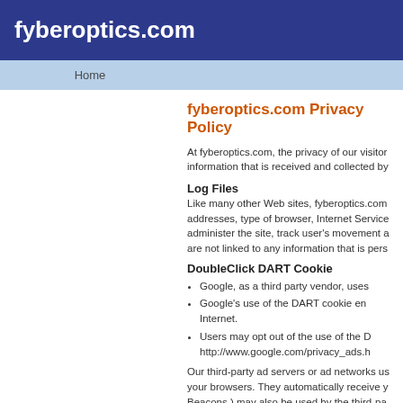fyberoptics.com
Home
fyberoptics.com Privacy Policy
At fyberoptics.com, the privacy of our visitors is of extreme importance to us. This privacy policy document outlines the types of personal information that is received and collected by fyberoptics.com and how it is used.
Log Files
Like many other Web sites, fyberoptics.com makes use of log files. The information inside the log files includes internet protocol ( IP ) addresses, type of browser, Internet Service Provider ( ISP ), date/time stamp, referring/exit pages, and number of clicks to analyze trends, administer the site, track user's movement a... are not linked to any information that is pers...
DoubleClick DART Cookie
Google, as a third party vendor, uses
Google's use of the DART cookie en... Internet.
Users may opt out of the use of the D... http://www.google.com/privacy_ads.h...
Our third-party ad servers or ad networks us... your browsers. They automatically receive y... Beacons ) may also be used by the third-pa... advertising content that you see.
fyberoptics.com has no access to or control...